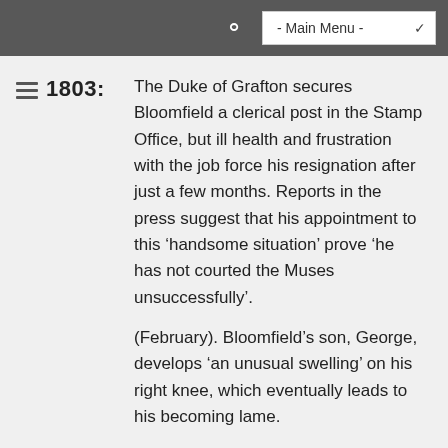- Main Menu -
1803: The Duke of Grafton secures Bloomfield a clerical post in the Stamp Office, but ill health and frustration with the job force his resignation after just a few months. Reports in the press suggest that his appointment to this ‘handsome situation’ prove ‘he has not courted the Muses unsuccessfully’.

(February). Bloomfield’s son, George, develops ‘an unusual swelling’ on his right knee, which eventually leads to his becoming lame.

(17 May). Sings a song composed for the occasion to honour Edward Jenner’s birthday.